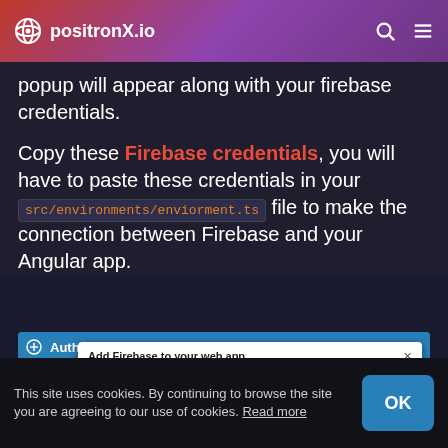positronX.io
popup will appear along with your firebase credentials.
Copy these Firebase credentials, you will have to paste these credentials in your src/environments/enviorment.ts file to make the connection between Firebase and your Angular app.
[Figure (screenshot): Firebase Authentication dialog: 'Add Firebase to your web app' with close button, instruction text 'Copy and paste the snippet below at the bottom of your HTML, before other script tags.' and a script tag code line]
This site uses cookies. By continuing to browse the site you are agreeing to our use of cookies. Read more